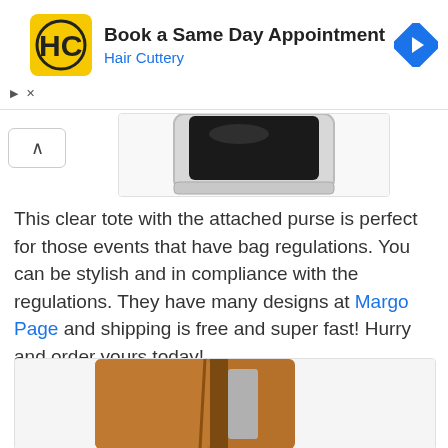[Figure (screenshot): Advertisement banner for Hair Cuttery with logo, title 'Book a Same Day Appointment', and navigation arrow icon]
[Figure (photo): Partial photo of a clear tote bag product, dark bag visible at top of image]
This clear tote with the attached purse is perfect for those events that have bag regulations. You can be stylish and in compliance with the regulations. They have many designs at Margo Page and shipping is free and super fast! Hurry and order yours today!
[Figure (photo): Partial photo of a brown leather wallet/notebook product]